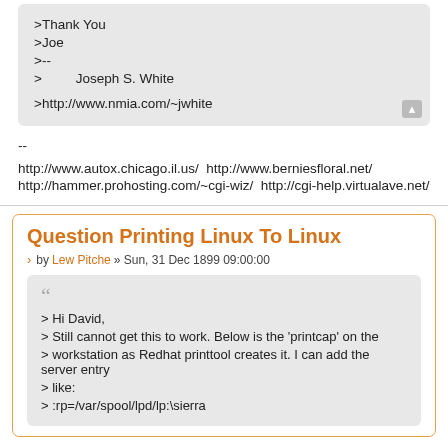>Thank You
>Joe
>--
>         Joseph S. White

>http://www.nmia.com/~jwhite
--

http://www.autox.chicago.il.us/  http://www.berniesfloral.net/
http://hammer.prohosting.com/~cgi-wiz/  http://cgi-help.virtualave.net/
Question Printing Linux To Linux
by Lew Pitche » Sun, 31 Dec 1899 09:00:00
> Hi David,
> Still cannot get this to work. Below is the 'printcap' on the
> workstation as Redhat printtool creates it. I can add the server entry
> like:
> :rp=/var/spool/lpd/lp:\sierra